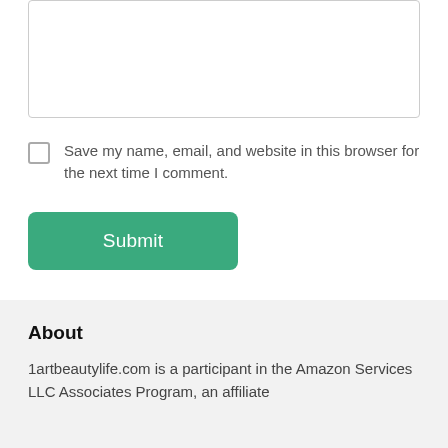[Figure (other): Empty textarea input box with light grey border]
Save my name, email, and website in this browser for the next time I comment.
[Figure (other): Green Submit button with rounded corners]
About
1artbeautylife.com is a participant in the Amazon Services LLC Associates Program, an affiliate